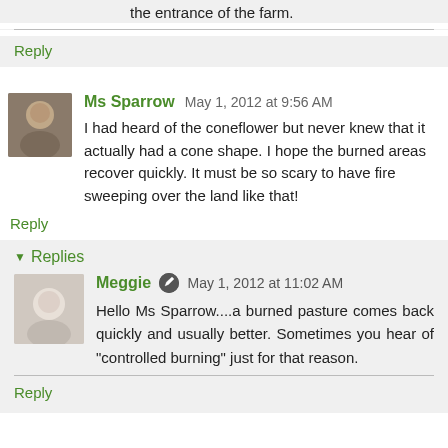the entrance of the farm.
Reply
Ms Sparrow  May 1, 2012 at 9:56 AM
I had heard of the coneflower but never knew that it actually had a cone shape. I hope the burned areas recover quickly. It must be so scary to have fire sweeping over the land like that!
Reply
Replies
Meggie  May 1, 2012 at 11:02 AM
Hello Ms Sparrow....a burned pasture comes back quickly and usually better. Sometimes you hear of "controlled burning" just for that reason.
Reply